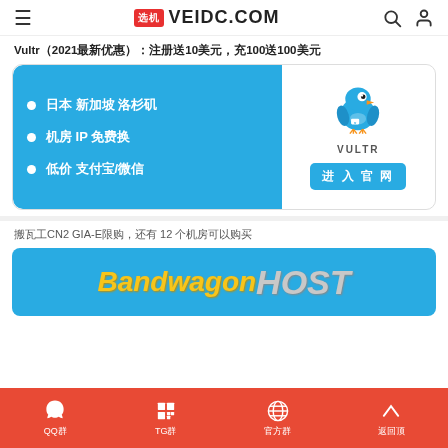VEIDC.COM
Vultr（2021最新优惠）：注册送10美元，充100送100美元
[Figure (infographic): Vultr promotional banner with blue left panel listing features: 日本 新加坡 洛杉矶, 机房 IP 免费换, 低价 支付宝/微信; right white panel with Vultr bird logo and 进入官网 button]
搬瓦工CN2 GIA-E限购，还有 12 个机房可以购买
[Figure (logo): BandwagonHOST logo on blue background, with BandwagonHost text in yellow/gold and silver]
QQ群  TG群  官网  顶部